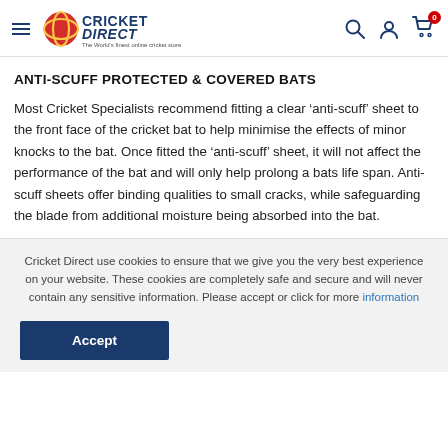Cricket Direct — The World's finest online cricket store
ANTI-SCUFF PROTECTED & COVERED BATS
Most Cricket Specialists recommend fitting a clear ‘anti-scuff’ sheet to the front face of the cricket bat to help minimise the effects of minor knocks to the bat. Once fitted the ‘anti-scuff’ sheet, it will not affect the performance of the bat and will only help prolong a bats life span. Anti-scuff sheets offer binding qualities to small cracks, while safeguarding the blade from additional moisture being absorbed into the bat.
Cricket Direct use cookies to ensure that we give you the very best experience on your website. These cookies are completely safe and secure and will never contain any sensitive information. Please accept or click for more information